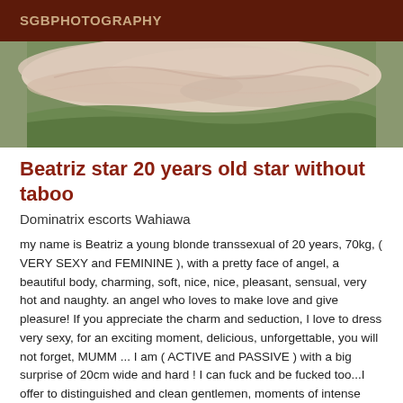SGBPHOTOGRAPHY
[Figure (photo): Outdoor photo showing sheer fabric or veil draped over grass/ground, pinkish-beige tones with greenery visible underneath]
Beatriz star 20 years old star without taboo
Dominatrix escorts Wahiawa
my name is Beatriz a young blonde transsexual of 20 years, 70kg, ( VERY SEXY and FEMININE ), with a pretty face of angel, a beautiful body, charming, soft, nice, nice, pleasant, sensual, very hot and naughty. an angel who loves to make love and give pleasure! If you appreciate the charm and seduction, I love to dress very sexy, for an exciting moment, delicious, unforgettable, you will not forget, MUMM ... I am ( ACTIVE and PASSIVE ) with a big surprise of 20cm wide and hard ! I can fuck and be fucked too...I offer to distinguished and clean gentlemen, moments of intense shared pleasure.